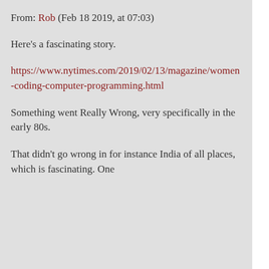From: Rob (Feb 18 2019, at 07:03)
Here's a fascinating story.
https://www.nytimes.com/2019/02/13/magazine/women-coding-computer-programming.html
Something went Really Wrong, very specifically in the early 80s.
That didn't go wrong in for instance India of all places, which is fascinating. One